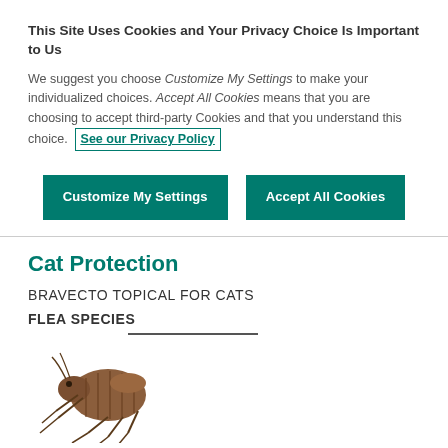This Site Uses Cookies and Your Privacy Choice Is Important to Us
We suggest you choose Customize My Settings to make your individualized choices. Accept All Cookies means that you are choosing to accept third-party Cookies and that you understand this choice. See our Privacy Policy
Customize My Settings
Accept All Cookies
Cat Protection
BRAVECTO TOPICAL FOR CATS
FLEA SPECIES
[Figure (illustration): Illustration of a flea insect, brown colored, viewed from the side, showing legs and segmented body]